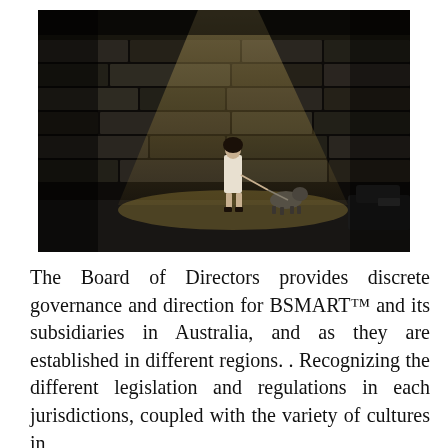[Figure (photo): A dark, moody photograph of a person in white dress walking a dog on a leash, standing against a large stone wall illuminated by a dramatic beam of light from above. The background is very dark with the stone wall showing layered blocks. A car is partially visible on the right edge.]
The Board of Directors provides discrete governance and direction for BSMART™ and its subsidiaries in Australia, and as they are established in different regions. . Recognizing the different legislation and regulations in each jurisdictions, coupled with the variety of cultures in